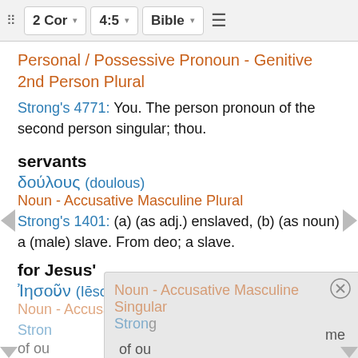2 Cor  4:5  Bible
Personal / Possessive Pronoun - Genitive 2nd Person Plural
Strong's 4771: You. The person pronoun of the second person singular; thou.
servants
δούλους (doulous)
Noun - Accusative Masculine Plural
Strong's 1401: (a) (as adj.) enslaved, (b) (as noun) a (male) slave. From deo; a slave.
for Jesus'
Ἰησοῦν (Iēsoun)
Noun - Accusative Masculine Singular
Strong's ...me of ou...